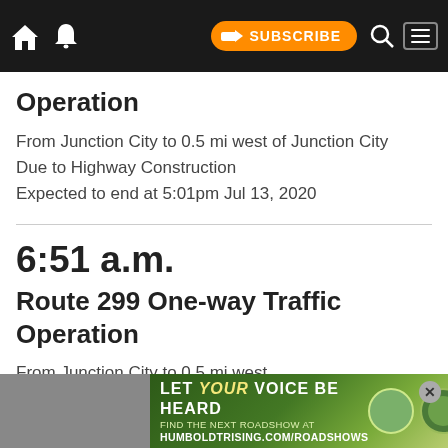SUBSCRIBE
Operation
From Junction City to 0.5 mi west of Junction City
Due to Highway Construction
Expected to end at 5:01pm Jul 13, 2020
6:51 a.m.
Route 299 One-way Traffic Operation
From Junction City to 0.5 mi west
[Figure (other): Advertisement banner: LET YOUR VOICE BE HEARD — FIND THE NEXT ROADSHOW AT HUMBOLDTRISING.COM/ROADSHOWS]